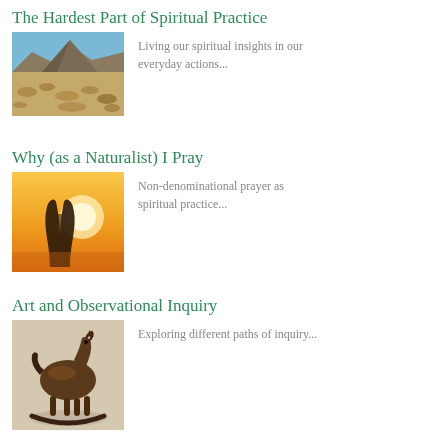The Hardest Part of Spiritual Practice
[Figure (photo): Desert mountain landscape with dry scrubland in foreground and rocky peak in background under blue sky]
Living our spiritual insights in our everyday actions...
Why (as a Naturalist) I Pray
[Figure (photo): Silhouette of praying hands against a warm golden sunset or sunrise background]
Non-denominational prayer as spiritual practice...
Art and Observational Inquiry
[Figure (photo): Small wooden rocking horse toy on a light surface]
Exploring different paths of inquiry...